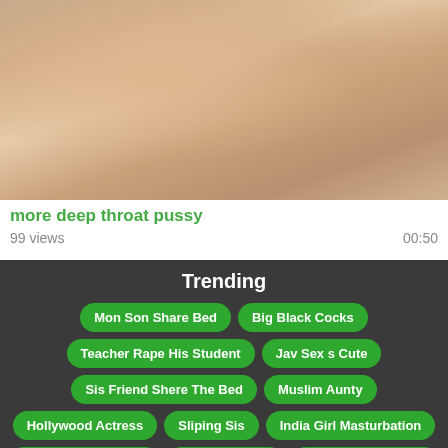[Figure (photo): Thumbnail image of a video]
more deep throat pussy
99 views   00:50
Trending
Mon Son Share Bed
Big Black Cocks
Teacher Rape His Student
Jav Sex s Cute
Sis Friend Shere The Bed
Muslim Aunty
Hollywood Actress
Sliping Sis
India Girl Masturbation
Erotiro Film 2018 18
India Bgi Mige
Big Mills Xnxx Com
ভারতীয় রোমান্টিক সব ভিডিও
Xnxx Rina Akiyama Sensei
Wheelchair Xxx Videos